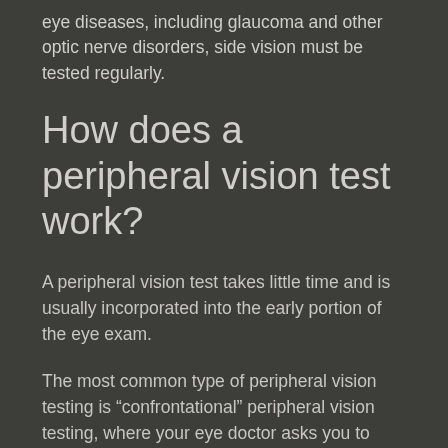eye diseases, including glaucoma and other optic nerve disorders, side vision must be tested regularly.
How does a peripheral vision test work?
A peripheral vision test takes little time and is usually incorporated into the early portion of the eye exam.
The most common type of peripheral vision testing is "confrontational" peripheral vision testing, where your eye doctor asks you to focus on a target directly in front of you (the doctor's eye, or an upraised finger, for example). With one eye covered, and your focus trained on the target, you'll be asked to describe things you see in the "side" of your vision.
What's important to remember is to keep focus on the